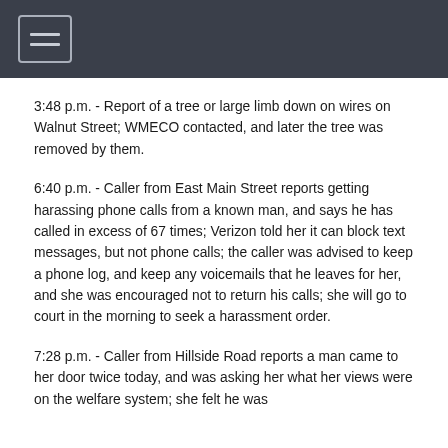3:48 p.m. - Report of a tree or large limb down on wires on Walnut Street; WMECO contacted, and later the tree was removed by them.
6:40 p.m. - Caller from East Main Street reports getting harassing phone calls from a known man, and says he has called in excess of 67 times; Verizon told her it can block text messages, but not phone calls; the caller was advised to keep a phone log, and keep any voicemails that he leaves for her, and she was encouraged not to return his calls; she will go to court in the morning to seek a harassment order.
7:28 p.m. - Caller from Hillside Road reports a man came to her door twice today, and was asking her what her views were on the welfare system; she felt he was